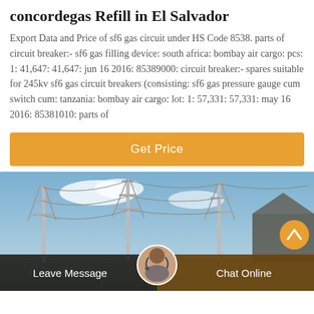concordegas Refill in El Salvador
Export Data and Price of sf6 gas circuit under HS Code 8538. parts of circuit breaker:- sf6 gas filling device: south africa: bombay air cargo: pcs: 1: 41,647: 41,647: jun 16 2016: 85389000: circuit breaker:- spares suitable for 245kv sf6 gas circuit breakers (consisting: sf6 gas pressure gauge cum switch cum: tanzania: bombay air cargo: lot: 1: 57,331: 57,331: may 16 2016: 85381010: parts of
[Figure (other): Orange 'Get Price' button]
[Figure (photo): Electrical substation with tall pylons and wires against a blue sky with clouds; bottom bar shows 'Leave Message' and 'Chat Online' with a customer service avatar in the center]